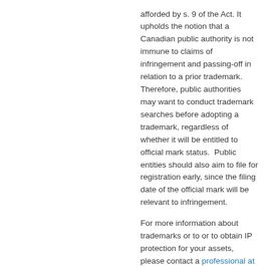afforded by s. 9 of the Act. It upholds the notion that a Canadian public authority is not immune to claims of infringement and passing-off in relation to a prior trademark. Therefore, public authorities may want to conduct trademark searches before adopting a trademark, regardless of whether it will be entitled to official mark status.  Public entities should also aim to file for registration early, since the filing date of the official mark will be relevant to infringement.
For more information about trademarks or to or to obtain IP protection for your assets, please contact a professional at PCK Intellectual Property.